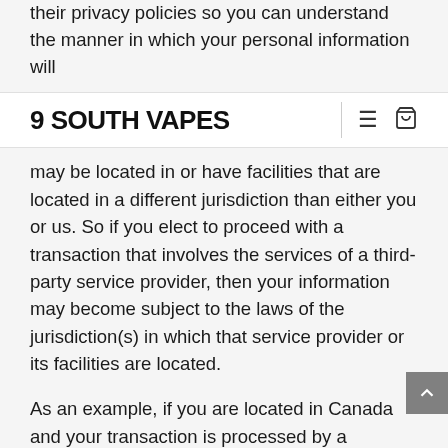their privacy policies so you can understand the manner in which your personal information will
9 SOUTH VAPES
may be located in or have facilities that are located in a different jurisdiction than either you or us. So if you elect to proceed with a transaction that involves the services of a third-party service provider, then your information may become subject to the laws of the jurisdiction(s) in which that service provider or its facilities are located.
As an example, if you are located in Canada and your transaction is processed by a payment gateway located in the United States, then your personal information used in completing that transaction may be subject to disclosure under United States legislation, including the Patriot Act